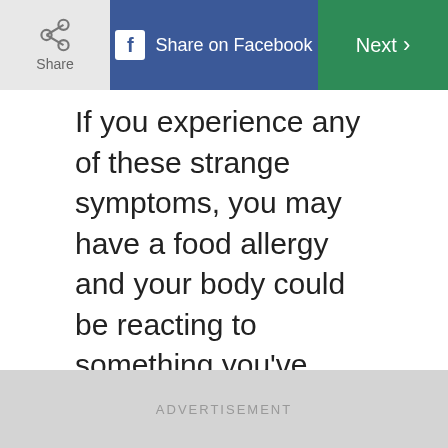Share | Share on Facebook | Next >
If you experience any of these strange symptoms, you may have a food allergy and your body could be reacting to something you've eaten.
[Figure (screenshot): Video player with black background showing title 'The 2 Allergy Home Remedies an A...' and a white play button triangle in the center]
ADVERTISEMENT